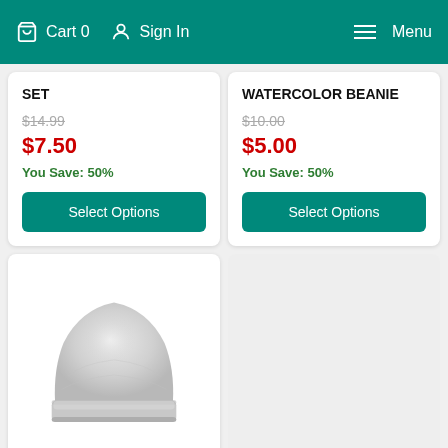Cart 0   Sign In   Menu
SET
$14.99
$7.50
You Save: 50%
WATERCOLOR BEANIE
$10.00
$5.00
You Save: 50%
[Figure (photo): A light gray watercolor beanie hat product photo on white background]